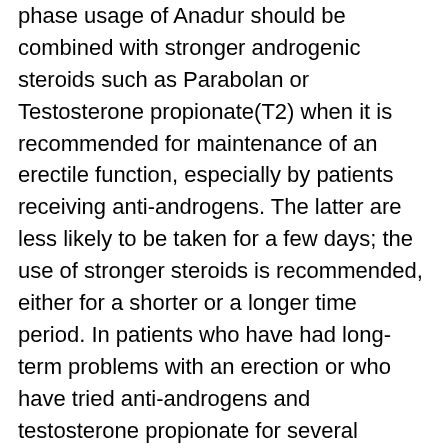phase usage of Anadur should be combined with stronger androgenic steroids such as Parabolan or Testosterone propionate(T2) when it is recommended for maintenance of an erectile function, especially by patients receiving anti-androgens. The latter are less likely to be taken for a few days; the use of stronger steroids is recommended, either for a shorter or a longer time period. In patients who have had long-term problems with an erection or who have tried anti-androgens and testosterone propionate for several weeks, androgenic steroids may help to prevent erectile problems and may reduce the risk of erectile and urinary dysfunction, parabolan acetate.
The best time for Anadur is either immediately for men whose testicles are still in their pre-puberty stage or during the week or weeks after an accident, such as car